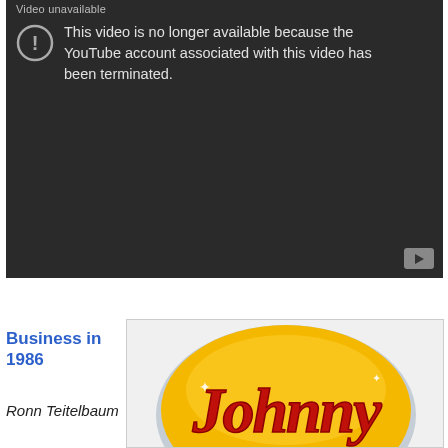[Figure (screenshot): YouTube video unavailable error screen with dark background, exclamation icon in circle, and text 'This video is no longer available because the YouTube account associated with this video has been terminated.' A play button icon is in the bottom right corner. A 'Video unavailable' label appears at the top.]
Business in 1986
Ronn Teitelbaum
[Figure (logo): Johnny's logo — a circular badge with yellow/gold background and red script lettering reading 'Johnny' in cursive style]